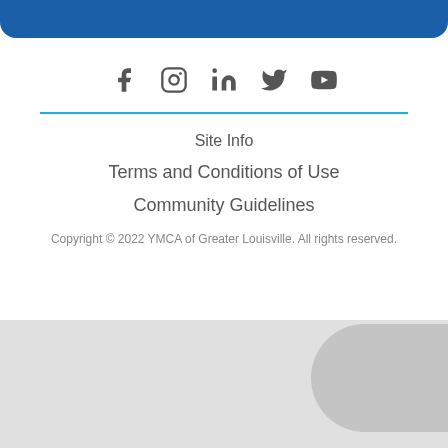[Figure (other): Blue rounded top bar / header banner]
[Figure (other): Social media icons row: Facebook, Instagram, LinkedIn, Twitter, YouTube]
Site Info
Terms and Conditions of Use
Community Guidelines
Copyright © 2022 YMCA of Greater Louisville. All rights reserved.
[Figure (other): Gray bottom area with rounded rectangle element]